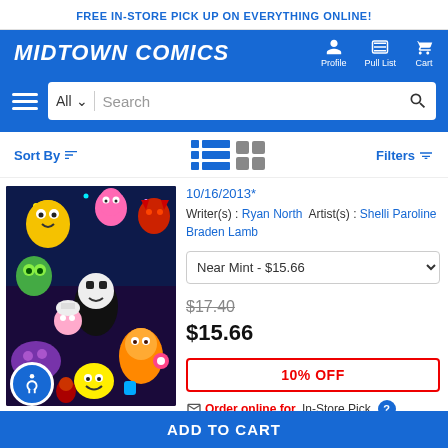FREE IN-STORE PICK UP ON EVERYTHING ONLINE!
MIDTOWN COMICS
Profile | Pull List | Cart
All  Search
Sort By  Filters
[Figure (photo): Colorful comic book cover with Adventure Time characters in a chaotic, psychedelic scene]
10/16/2013*
Writer(s) : Ryan North  Artist(s) : Shelli Paroline Braden Lamb
Near Mint - $15.66
$17.40 (strikethrough)
$15.66
10% OFF
Order online for In-Store Pick
ADD TO CART